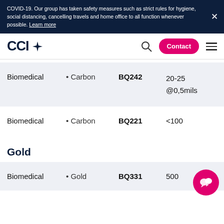COVID-19. Our group has taken safety measures such as strict rules for hygiene, social distancing, cancelling travels and home office to all function whenever possible. Learn more
[Figure (logo): CCI logo with star icon, contact button, search icon, and hamburger menu]
| Application | Type | Code | Value |
| --- | --- | --- | --- |
| Biomedical | • Carbon | BQ242 | 20-25 @0,5mils |
| Biomedical | • Carbon | BQ221 | <100 |
Gold
| Application | Type | Code | Value |
| --- | --- | --- | --- |
| Biomedical | • Gold | BQ331 | 500 |